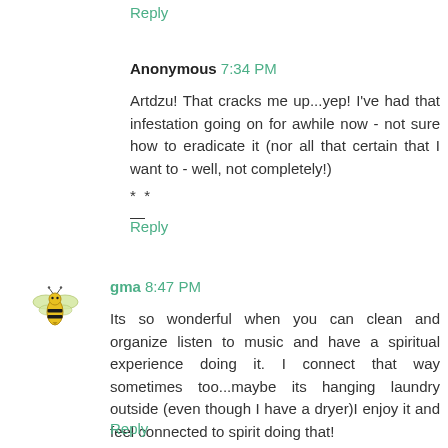Reply
Anonymous 7:34 PM
Artdzu! That cracks me up...yep! I've had that infestation going on for awhile now - not sure how to eradicate it (nor all that certain that I want to - well, not completely!)
* *
—
Reply
gma 8:47 PM
Its so wonderful when you can clean and organize listen to music and have a spiritual experience doing it. I connect that way sometimes too...maybe its hanging laundry outside (even though I have a dryer)I enjoy it and feel connected to spirit doing that!
BTW your workspace is lovely!
Reply